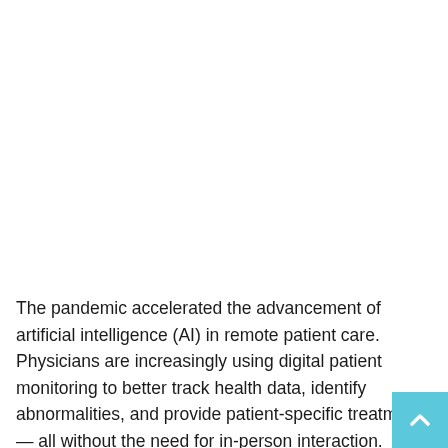The pandemic accelerated the advancement of artificial intelligence (AI) in remote patient care. Physicians are increasingly using digital patient monitoring to better track health data, identify abnormalities, and provide patient-specific treatment — all without the need for in-person interaction. Additionally, emergency departments are employing remote monitoring solutions to allow some patients to leave the